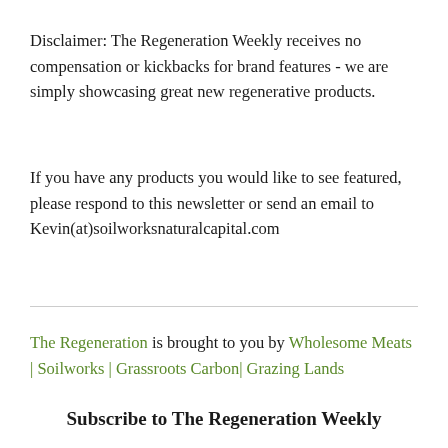Disclaimer: The Regeneration Weekly receives no compensation or kickbacks for brand features - we are simply showcasing great new regenerative products.
If you have any products you would like to see featured, please respond to this newsletter or send an email to Kevin(at)soilworksnaturalcapital.com
The Regeneration is brought to you by Wholesome Meats | Soilworks | Grassroots Carbon| Grazing Lands
Subscribe to The Regeneration Weekly